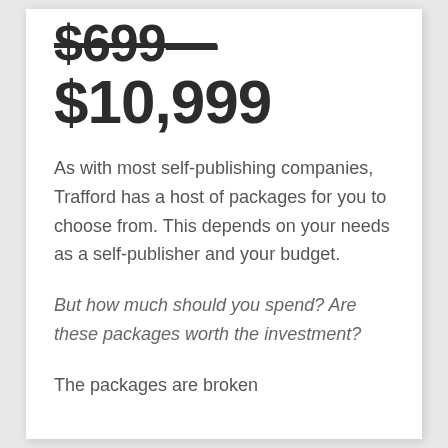$699— $10,999
As with most self-publishing companies, Trafford has a host of packages for you to choose from. This depends on your needs as a self-publisher and your budget.
But how much should you spend? Are these packages worth the investment?
The packages are broken